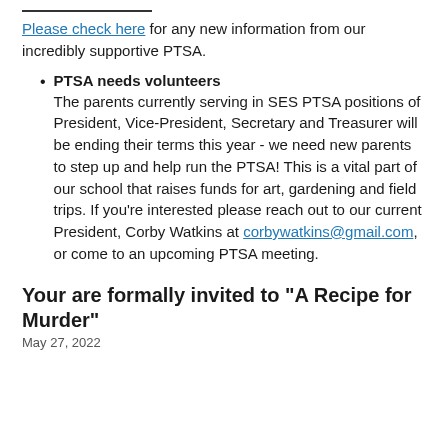Please check here for any new information from our incredibly supportive PTSA.
PTSA needs volunteers
The parents currently serving in SES PTSA positions of President, Vice-President, Secretary and Treasurer will be ending their terms this year - we need new parents to step up and help run the PTSA! This is a vital part of our school that raises funds for art, gardening and field trips. If you're interested please reach out to our current President, Corby Watkins at corbywatkins@gmail.com, or come to an upcoming PTSA meeting.
Your are formally invited to "A Recipe for Murder"
May 27, 2022